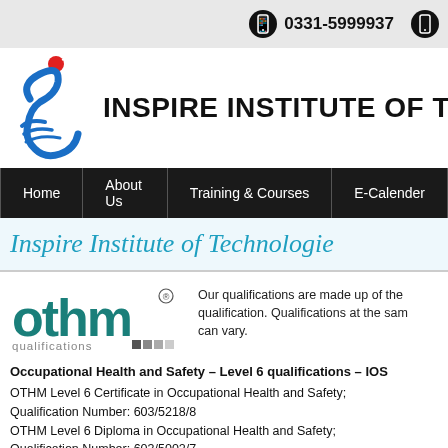0331-5999937
[Figure (logo): Inspire Institute of Technologies logo — stylized blue figure with red dot above]
INSPIRE INSTITUTE OF TEC
Home | About Us | Training & Courses | E-Calender
Inspire Institute of Technologie
[Figure (logo): OTHM qualifications logo in teal with colored square accents]
Our qualifications are made up of the qualification. Qualifications at the same can vary.
Occupational Health and Safety – Level 6 qualifications – IOS
OTHM Level 6 Certificate in Occupational Health and Safety; Qualification Number: 603/5218/8
OTHM Level 6 Diploma in Occupational Health and Safety; Qualification Number: 603/5002/7